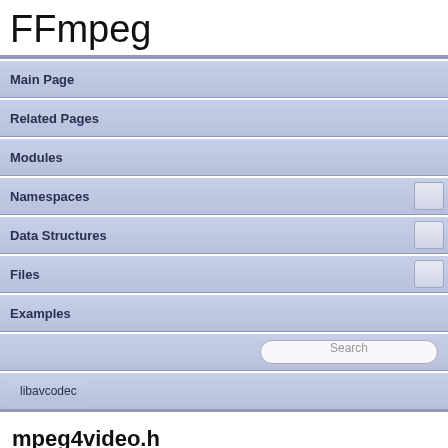FFmpeg
Main Page
Related Pages
Modules
Namespaces
Data Structures
Files
Examples
Search
libavcodec
mpeg4video.h
Go to the documentation of this file.